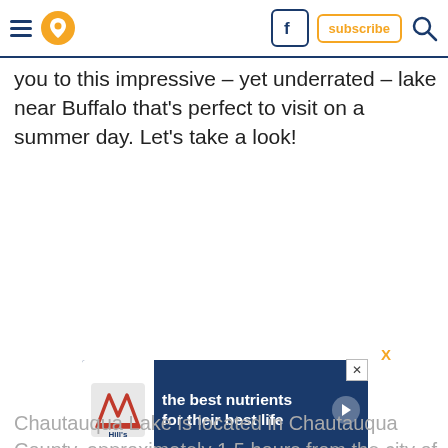Navigation header with hamburger menu, location icon, Facebook icon, subscribe button, and search icon
you to this impressive – yet underrated – lake near Buffalo that's perfect to visit on a summer day. Let's take a look!
[Figure (other): Advertisement banner for Hill's pet nutrition: 'the best nutrients for their best life' with Hill's logo and play button on dark blue background]
Chautauqua Lake is located in Chautauqua County, approximately 1.5 hours from the city of